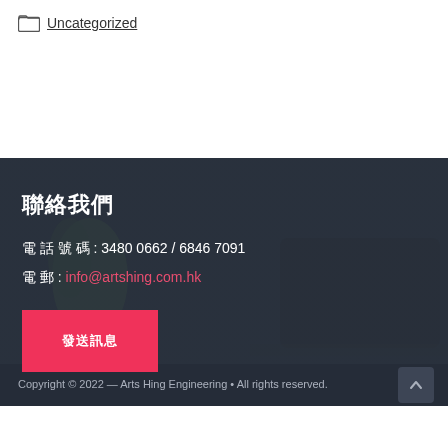Uncategorized
聯絡我們
電 話 號 碼 : 3480 0662 / 6846 7091
電 郵 : info@artshing.com.hk
發送訊息
Copyright © 2022 — Arts Hing Engineering • All rights reserved.